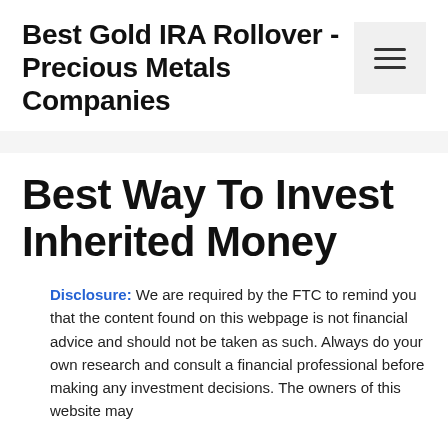Best Gold IRA Rollover - Precious Metals Companies
Best Way To Invest Inherited Money
Disclosure: We are required by the FTC to remind you that the content found on this webpage is not financial advice and should not be taken as such. Always do your own research and consult a financial professional before making any investment decisions. The owners of this website may